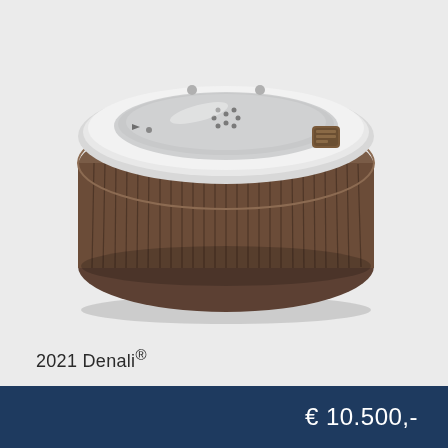[Figure (photo): Round hot tub / spa with white acrylic shell interior and dark brown wood-panel exterior siding. The tub is viewed from a slightly elevated angle showing the interior basin with jet nozzles, speakers, and a control panel on the right side.]
2021 Denali®
€ 10.500,-